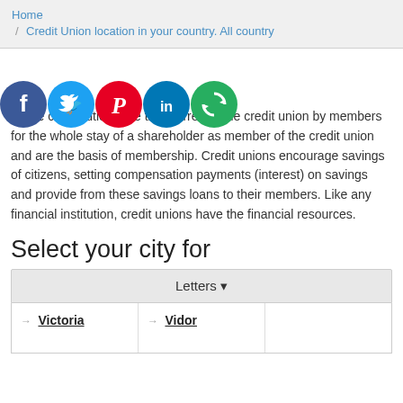Home / Credit Union location in your country. All country
[Figure (illustration): Five social media sharing icons in a row: Facebook (blue circle with F), Twitter (light blue circle with bird), Pinterest (red circle with P), LinkedIn (blue circle with in), and a share icon (green circle with circular arrows)]
Share contributions are transferred to the credit union by members for the whole stay of a shareholder as member of the credit union and are the basis of membership. Credit unions encourage savings of citizens, setting compensation payments (interest) on savings and provide from these savings loans to their members. Like any financial institution, credit unions have the financial resources.
Select your city for
| City 1 | City 2 | City 3 |
| --- | --- | --- |
| → Victoria | → Vidor |  |